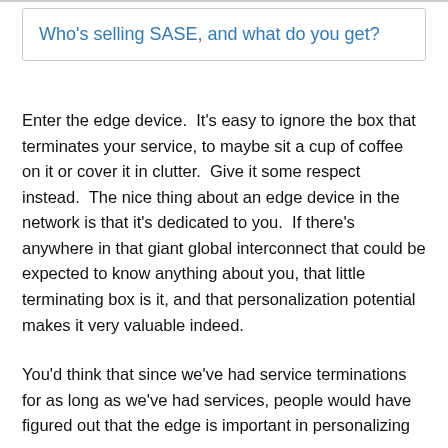Who's selling SASE, and what do you get?
Enter the edge device.  It’s easy to ignore the box that terminates your service, to maybe sit a cup of coffee on it or cover it in clutter.  Give it some respect instead.  The nice thing about an edge device in the network is that it’s dedicated to you.  If there’s anywhere in that giant global interconnect that could be expected to know anything about you, that little terminating box is it, and that personalization potential makes it very valuable indeed.
You’d think that since we’ve had service terminations for as long as we’ve had services, people would have figured out that the edge is important in personalizing